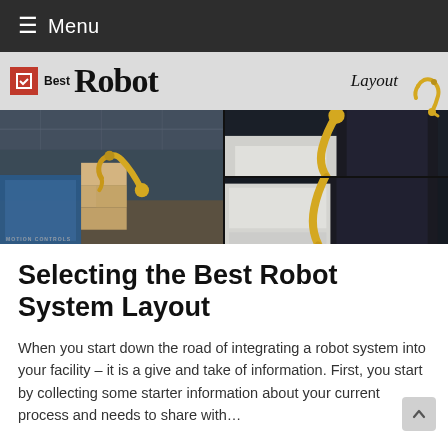≡ Menu
[Figure (photo): Hero image showing industrial robot systems. Top banner reads 'Best Robot Layout' with a robotic arm graphic. Below are photos of yellow FANUC robots in a warehouse/industrial facility handling boxes and pallets.]
Selecting the Best Robot System Layout
When you start down the road of integrating a robot system into your facility – it is a give and take of information. First, you start by collecting some starter information about your current process and needs to share with…